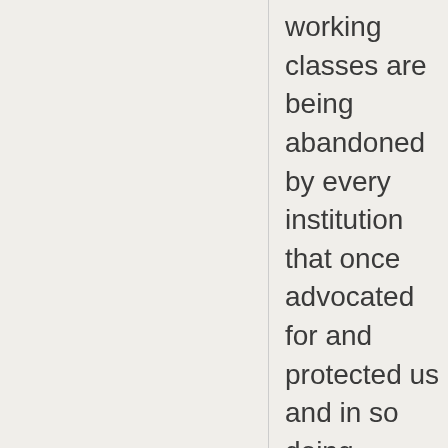working classes are being abandoned by every institution that once advocated for and protected us and in so doing, provided a modest counter-weight to